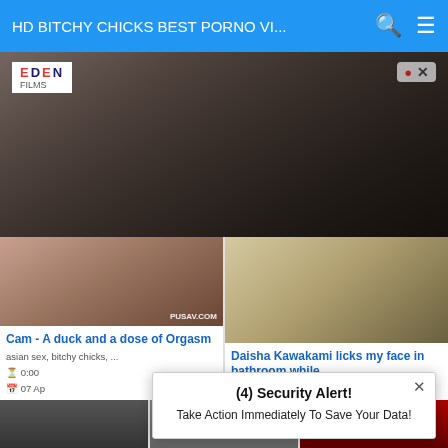HD BITCHY CHICKS BEST PORNO VI...
[Figure (photo): Advertisement banner with EDEN logo and adult content image showing dark background with figure]
[Figure (photo): Video thumbnail - left card: Cam - A duck and a dose of Orgasm, asian sex, bitchy chicks, 0:00, 07 Apr]
Cam - A duck and a dose of Orgasm
asian sex, bitchy chicks, ...
0:00
07 Ap
[Figure (photo): Video thumbnail - right card: Daisha Kawakami licks my face in bathroom while, asian sex, bitchy chicks]
Daisha Kawakami licks my face in bathroom while
asian sex, bitchy chicks, ...
(4) Security Alert!
Take Action Immediately To Save Your Data!